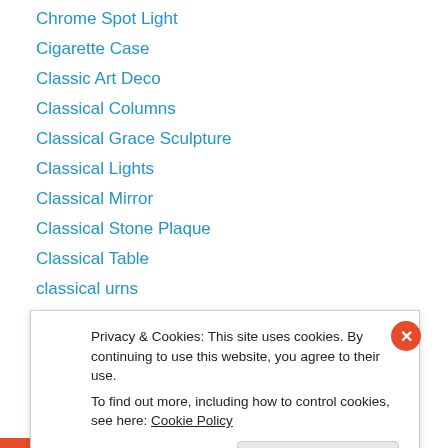Chrome Spot Light
Cigarette Case
Classic Art Deco
Classical Columns
Classical Grace Sculpture
Classical Lights
Classical Mirror
Classical Stone Plaque
Classical Table
classical urns
Classical Vases
clock set
Clocks
Privacy & Cookies: This site uses cookies. By continuing to use this website, you agree to their use.
To find out more, including how to control cookies, see here: Cookie Policy
Close and accept